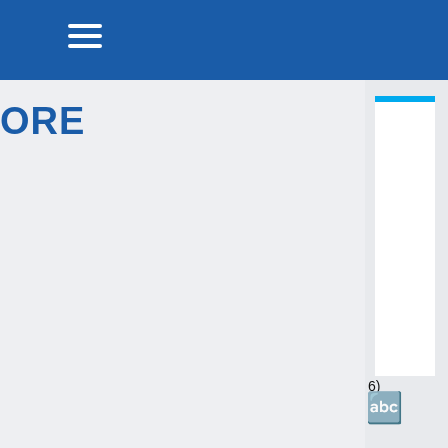[Figure (screenshot): Blue navigation header bar with hamburger menu icon (three white horizontal lines)]
ORE
[Figure (screenshot): Right sidebar panel with white card topped by a cyan/light-blue accent bar, and partial text '6)' visible, along with a text-resize icon at the bottom]